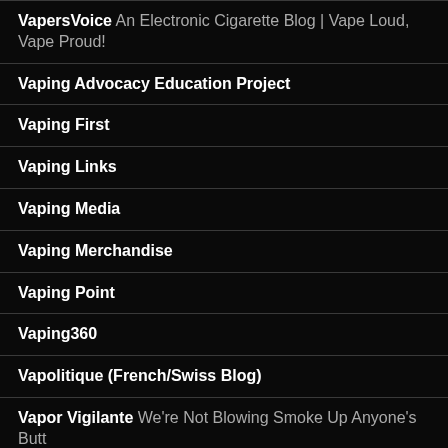VapersVoice An Electronic Cigarette Blog | Vape Loud, Vape Proud!
Vaping Advocacy Education Project
Vaping First
Vaping Links
Vaping Media
Vaping Merchandise
Vaping Point
Vaping360
Vapolitique (French/Swiss Blog)
Vapor Vigilante We're Not Blowing Smoke Up Anyone's Butt
Views On Vaping *from Kickbuttandvape.com Views On Vaping